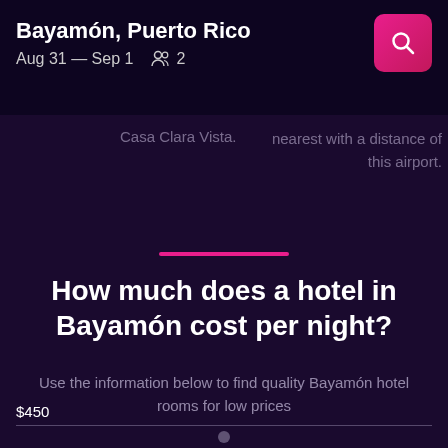Bayamón, Puerto Rico — Aug 31 — Sep 1 — 2 guests
Casa Clara Vista.
nearest with a distance of this airport.
How much does a hotel in Bayamón cost per night?
Use the information below to find quality Bayamón hotel rooms for low prices
$450